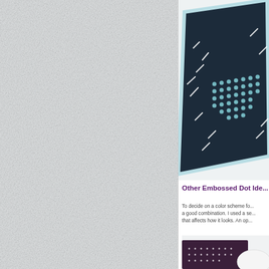[Figure (photo): Left column with light gray textured background, occupying roughly two-thirds of the page width.]
[Figure (photo): Top right: photograph of a dark navy card with embossed/beaded dots and white dash stitching on a light blue-white background, viewed at an angle.]
Other Embossed Dot Ide...
To decide on a color scheme fo... a good combination. I used a se... that affects how it looks. An op...
[Figure (photo): Bottom right: photograph of a dark purple/eggplant card with small white dots, partially cropped, with a white oval/circle element visible.]